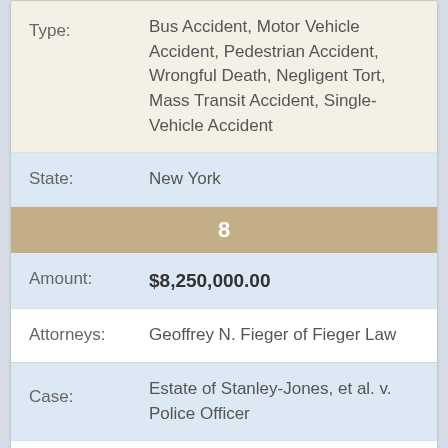| Field | Value |
| --- | --- |
| Type: | Bus Accident, Motor Vehicle Accident, Pedestrian Accident, Wrongful Death, Negligent Tort, Mass Transit Accident, Single-Vehicle Accident |
| State: | New York |
| 8 |  |
| Amount: | $8,250,000.00 |
| Attorneys: | Geoffrey N. Fieger of Fieger Law |
| Case: | Estate of Stanley-Jones, et al. v. Police Officer |
| Type: | Assault & Battery, Civil Rights Violation, Wrongful Death, Gunshot Wound, Intentional Tort, Emotional Distress, Police Brutality, Police... |